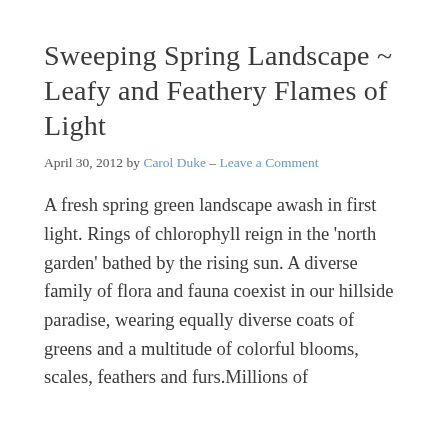Sweeping Spring Landscape ~ Leafy and Feathery Flames of Light
April 30, 2012 by Carol Duke – Leave a Comment
A fresh spring green landscape awash in first light. Rings of chlorophyll reign in the 'north garden' bathed by the rising sun. A diverse family of flora and fauna coexist in our hillside paradise, wearing equally diverse coats of greens and a multitude of colorful blooms, scales, feathers and furs.Millions of